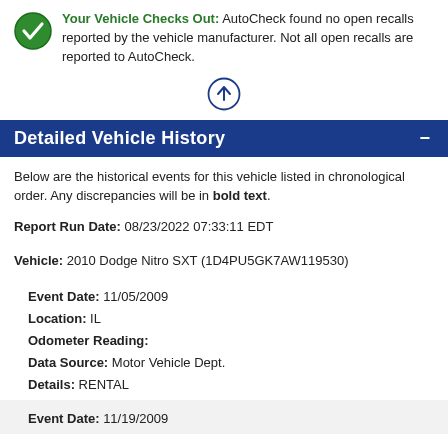Your Vehicle Checks Out: AutoCheck found no open recalls reported by the vehicle manufacturer. Not all open recalls are reported to AutoCheck.
[Figure (illustration): Up arrow icon inside a circle]
Detailed Vehicle History
Below are the historical events for this vehicle listed in chronological order. Any discrepancies will be in bold text.
Report Run Date: 08/23/2022 07:33:11 EDT
Vehicle: 2010 Dodge Nitro SXT (1D4PU5GK7AW119530)
Event Date: 11/05/2009
Location: IL
Odometer Reading:
Data Source: Motor Vehicle Dept.
Details: RENTAL
Event Date: 11/19/2009